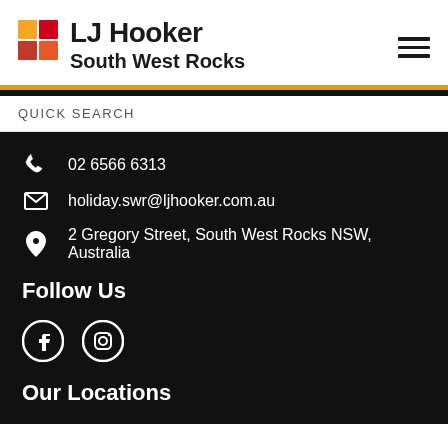[Figure (logo): LJ Hooker logo with orange/red square icon, text 'LJ Hooker' and 'South West Rocks']
QUICK SEARCH
02 6566 6313
holiday.swr@ljhooker.com.au
2 Gregory Street, South West Rocks NSW, Australia
Follow Us
[Figure (illustration): Facebook and Instagram social media icons]
Our Locations